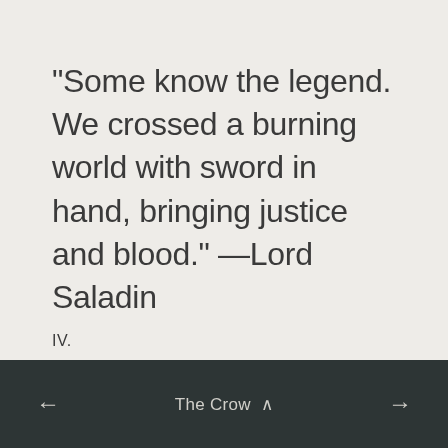"Some know the legend. We crossed a burning world with sword in hand, bringing justice and blood." —Lord Saladin
IV.
← The Crow ^ →